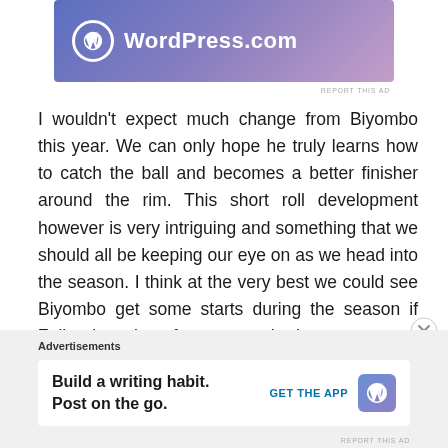[Figure (logo): WordPress.com advertisement banner with gradient blue-purple background, WordPress circular logo icon and WordPress.com text in white]
I wouldn't expect much change from Biyombo this year. We can only hope he truly learns how to catch the ball and becomes a better finisher around the rim. This short roll development however is very intriguing and something that we should all be keeping our eye on as we head into the season. I think at the very best we could see Biyombo get some starts during the season if Zeller doesn't perform to standard.
leave a comment
[Figure (other): Advertisements footer section with WordPress.com app promotion: 'Build a writing habit. Post on the go.' with GET THE APP button and WordPress logo]